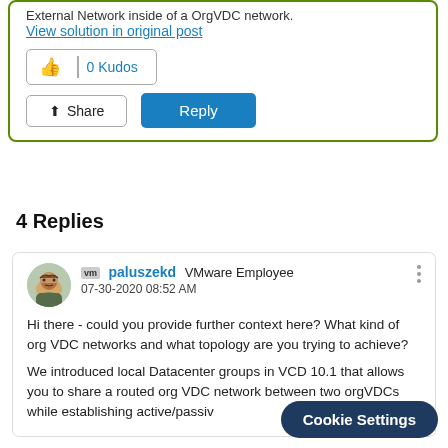External Network inside of a OrgVDC network.
View solution in original post
0 Kudos
Share
Reply
4 Replies
paluszekd  VMware Employee
07-30-2020 08:52 AM
Hi there - could you provide further context here? What kind of org VDC networks and what topology are you trying to achieve?
We introduced local Datacenter groups in VCD 10.1 that allows you to share a routed org VDC network between two orgVDCs while establishing active/passive across points. This is for N...
Cookie Settings